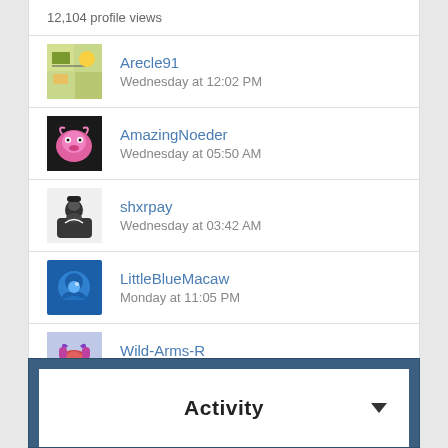12,104 profile views
Arecle91 | Wednesday at 12:02 PM
AmazingNoeder | Wednesday at 05:50 AM
shxrpay | Wednesday at 03:42 AM
LittleBlueMacaw | Monday at 11:05 PM
Wild-Arms-R | August 15
HappyGMore | August 13
Activity